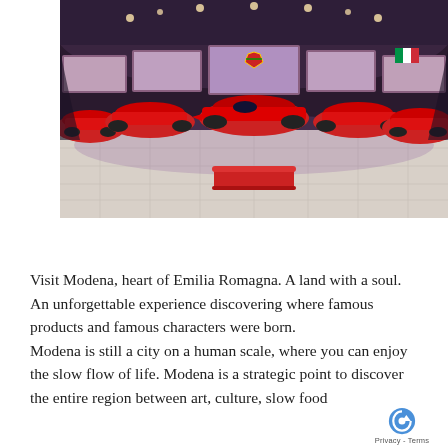[Figure (photo): Interior of a Ferrari museum showroom with multiple red Formula 1 racing cars arranged in a curved circular hall. Large screens on the walls show Ferrari imagery. A red bench sits in the center of the tiled floor. Ceiling has spot lighting.]
Visit Modena, heart of Emilia Romagna. A land with a soul. An unforgettable experience discovering where famous products and famous characters were born.
Modena is still a city on a human scale, where you can enjoy the slow flow of life. Modena is a strategic point to discover the entire region between art, culture, slow food